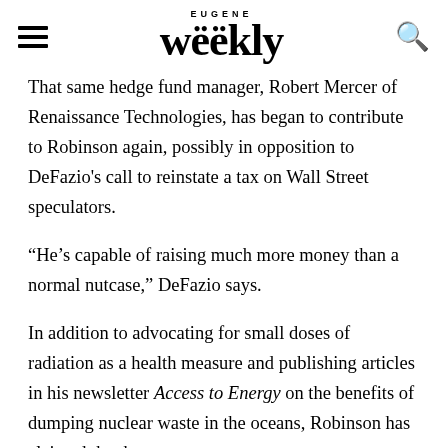Eugene Weekly
That same hedge fund manager, Robert Mercer of Renaissance Technologies, has began to contribute to Robinson again, possibly in opposition to DeFazio's call to reinstate a tax on Wall Street speculators.
“He’s capable of raising much more money than a normal nutcase,” DeFazio says.
In addition to advocating for small doses of radiation as a health measure and publishing articles in his newsletter Access to Energy on the benefits of dumping nuclear waste in the oceans, Robinson has claimed that human-